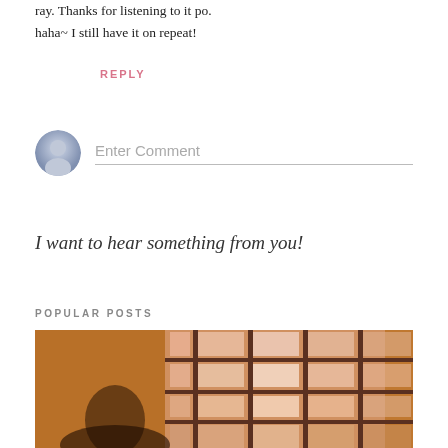ray. Thanks for listening to it po. haha~ I still have it on repeat!
REPLY
[Figure (other): Comment input area with default user avatar icon and Enter Comment placeholder text]
I want to hear something from you!
POPULAR POSTS
[Figure (photo): Photo showing a person near a large gridded window with warm orange-brown tones and pink light coming through the window panes]